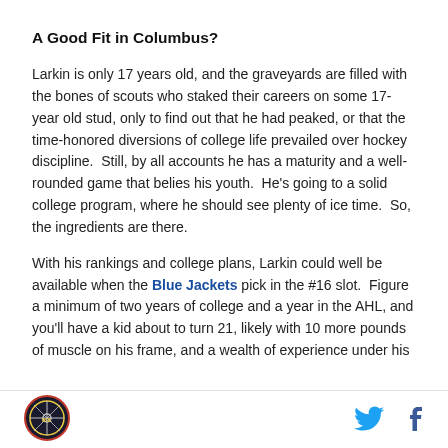A Good Fit in Columbus?
Larkin is only 17 years old, and the graveyards are filled with the bones of scouts who staked their careers on some 17-year old stud, only to find out that he had peaked, or that the time-honored diversions of college life prevailed over hockey discipline.  Still, by all accounts he has a maturity and a well-rounded game that belies his youth.  He's going to a solid college program, where he should see plenty of ice time.  So, the ingredients are there.
With his rankings and college plans, Larkin could well be available when the Blue Jackets pick in the #16 slot.  Figure a minimum of two years of college and a year in the AHL, and you'll have a kid about to turn 21, likely with 10 more pounds of muscle on his frame, and a wealth of experience under his
[Figure (logo): Circular sports team logo in bottom left corner]
Twitter bird icon and Facebook 'f' icon in bottom right